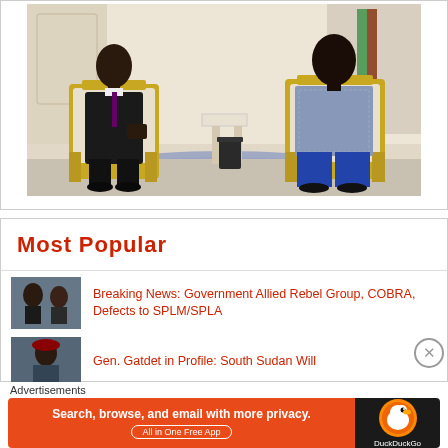[Figure (photo): Two men seated in gold-trimmed white chairs in an ornate room with a decorative blue carpet. The man on the left wears a dark suit. The man on the right wears a patterned blue/grey top with blue trousers. A small side table stands between them.]
Most Popular
[Figure (photo): Thumbnail photo of two people]
Breaking News: Government Allied Rebel Group, COBRA, Defects to SPLM/SPLA
[Figure (photo): Thumbnail photo of a military officer]
Gen. Gatdet in Profile: South Sudan Will
Advertisements
[Figure (screenshot): DuckDuckGo advertisement banner: orange section reads 'Search, browse, and email with more privacy. All in One Free App' with dark section showing DuckDuckGo logo]